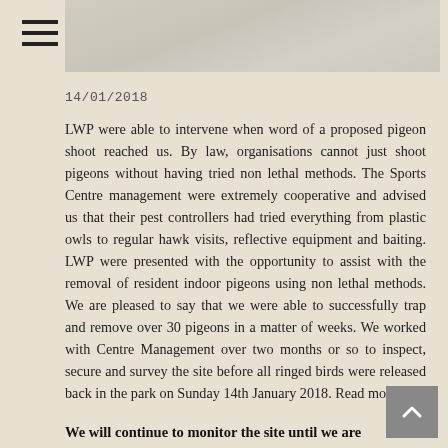[Figure (photo): Partial photograph visible at top of page, muted grey/beige tones]
14/01/2018
LWP were able to intervene when word of a proposed pigeon shoot reached us. By law, organisations cannot just shoot pigeons without having tried non lethal methods. The Sports Centre management were extremely cooperative and advised us that their pest controllers had tried everything from plastic owls to regular hawk visits, reflective equipment and baiting. LWP were presented with the opportunity to assist with the removal of resident indoor pigeons using non lethal methods. We are pleased to say that we were able to successfully trap and remove over 30 pigeons in a matter of weeks. We worked with Centre Management over two months or so to inspect, secure and survey the site before all ringed birds were released back in the park on Sunday 14th January 2018. Read more here
We will continue to monitor the site until we are